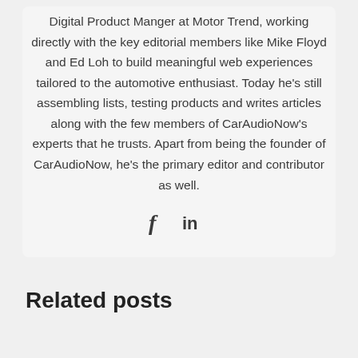Digital Product Manger at Motor Trend, working directly with the key editorial members like Mike Floyd and Ed Loh to build meaningful web experiences tailored to the automotive enthusiast. Today he's still assembling lists, testing products and writes articles along with the few members of CarAudioNow's experts that he trusts. Apart from being the founder of CarAudioNow, he's the primary editor and contributor as well.
[Figure (other): Social media icons: Facebook (f) and LinkedIn (in)]
Related posts